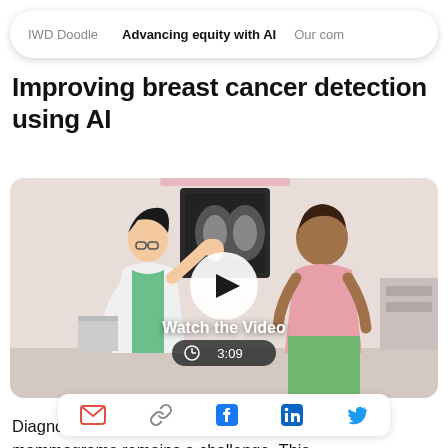IWD Doodle   Advancing equity with AI   Our com
Improving breast cancer detection using AI
[Figure (screenshot): Video thumbnail showing an illustrated scene of a female doctor in a white coat pointing at a mammogram screen, with a female patient standing to the right. A YouTube-style play button is overlaid in the center with the text 'Watch the Video' and a duration badge showing '3:09'.]
[Figure (infographic): Share bar with email, link, Facebook, LinkedIn, and Twitter icons]
Diagnosing breast cancer accurately and early with mammograms remains a challenge. This